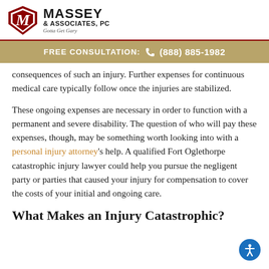[Figure (logo): Massey & Associates PC law firm logo with shield emblem and tagline 'Gotta Get Gary']
FREE CONSULTATION: (888) 885-1982
consequences of such an injury. Further expenses for continuous medical care typically follow once the injuries are stabilized.
These ongoing expenses are necessary in order to function with a permanent and severe disability. The question of who will pay these expenses, though, may be something worth looking into with a personal injury attorney's help. A qualified Fort Oglethorpe catastrophic injury lawyer could help you pursue the negligent party or parties that caused your injury for compensation to cover the costs of your initial and ongoing care.
What Makes an Injury Catastrophic?